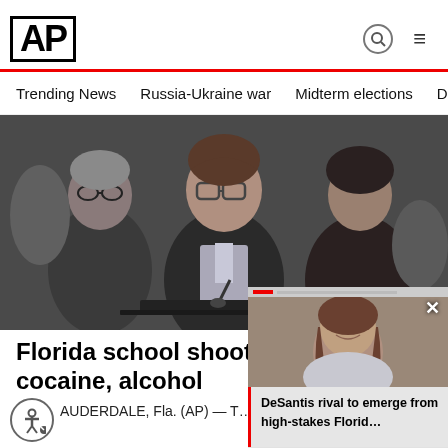[Figure (logo): AP (Associated Press) logo in bold black text with red underline border]
Trending News   Russia-Ukraine war   Midterm elections   Dona
[Figure (photo): Courtroom photo showing Nikolas Cruz (center, wearing glasses) flanked by two women in a courtroom setting]
Florida school shooter's birth… cocaine, alcohol
LAUDERDALE, Fla. (AP) — T… Florida school shooter Nikolas Cruz ab…
[Figure (screenshot): Mini video overlay in bottom-right showing a woman smiling, with caption: DeSantis rival to emerge from high-stakes Florid...]